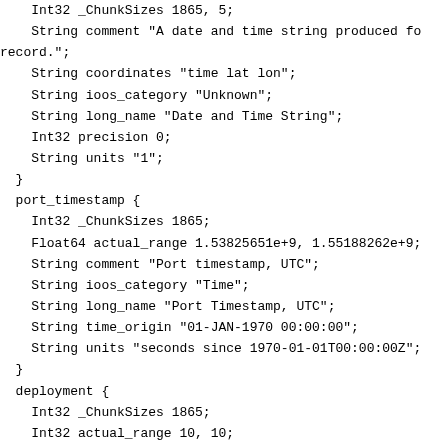Int32 _ChunkSizes 1865, 5;
    String comment "A date and time string produced fo
record.";
    String coordinates "time lat lon";
    String ioos_category "Unknown";
    String long_name "Date and Time String";
    Int32 precision 0;
    String units "1";
  }
  port_timestamp {
    Int32 _ChunkSizes 1865;
    Float64 actual_range 1.53825651e+9, 1.55188262e+9;
    String comment "Port timestamp, UTC";
    String ioos_category "Time";
    String long_name "Port Timestamp, UTC";
    String time_origin "01-JAN-1970 00:00:00";
    String units "seconds since 1970-01-01T00:00:00Z";
  }
  deployment {
    Int32 _ChunkSizes 1865;
    Int32 actual_range 10, 10;
    String ioos_category "Unknown";
    String name "deployment";
  }
  absolute_pressure_qc_results {
    Int32 _ChunkSizes 1865;